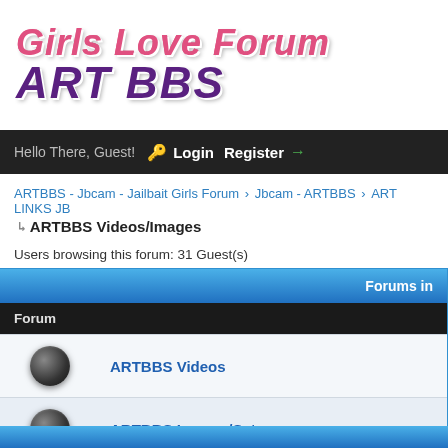[Figure (logo): Girls Love Forum ART BBS logo with stylized italic text]
Hello There, Guest! Login Register
ARTBBS - Jbcam - Jailbait Girls Forum › Jbcam - ARTBBS › ART LINKS JB
ARTBBS Videos/Images
Users browsing this forum: 31 Guest(s)
| Forums in | Forum |
| --- | --- |
| ARTBBS Videos |
| ARTBBS Images/Sets |